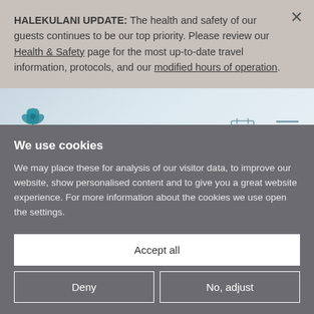HALEKULANI UPDATE: The health and safety of our guests continues to be our top priority. Please review our Health & Safety page for the most up-to-date travel information, protocols, and our modified hours of operation.
[Figure (logo): Halekulani hotel logo with teal orchid/flower icon and italic script wordmark]
We use cookies
We may place these for analysis of our visitor data, to improve our website, show personalised content and to give you a great website experience. For more information about the cookies we use open the settings.